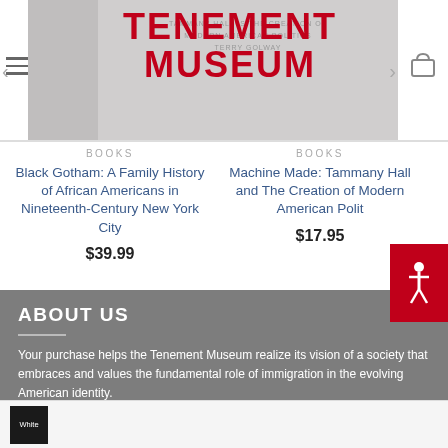TENEMENT MUSEUM
BOOKS
Black Gotham: A Family History of African Americans in Nineteenth-Century New York City
$39.99
BOOKS
Machine Made: Tammany Hall and The Creation of Modern American Poli...
$17.95
ABOUT US
Your purchase helps the Tenement Museum realize its vision of a society that embraces and values the fundamental role of immigration in the evolving American identity.
Find Us on Social Media: